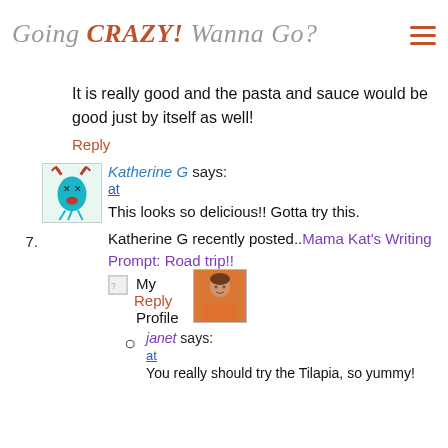Going CRAZY! Wanna Go?
It is really good and the pasta and sauce would be good just by itself as well!
Reply
7. Katherine G says:
at
This looks so delicious!! Gotta try this.
Katherine G recently posted..Mama Kat's Writing Prompt: Road trip!!
My Reply
janet says:
at
You really should try the Tilapia, so yummy!